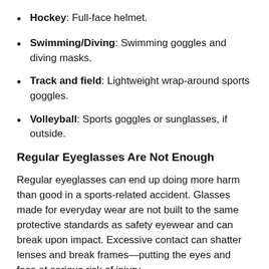Hockey: Full-face helmet.
Swimming/Diving: Swimming goggles and diving masks.
Track and field: Lightweight wrap-around sports goggles.
Volleyball: Sports goggles or sunglasses, if outside.
Regular Eyeglasses Are Not Enough
Regular eyeglasses can end up doing more harm than good in a sports-related accident. Glasses made for everyday wear are not built to the same protective standards as safety eyewear and can break upon impact. Excessive contact can shatter lenses and break frames—putting the eyes and face at serious risk of injury.
[iframe https://www.youtube.com/embed/9NhvJECwMmo?